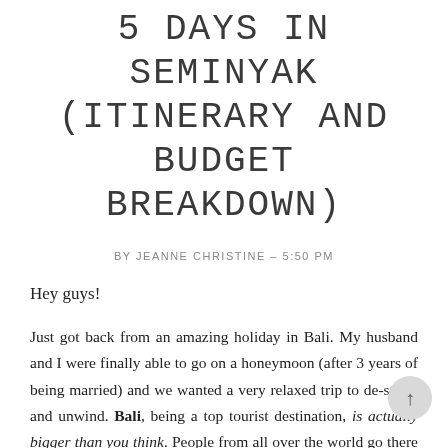5 DAYS IN SEMINYAK (ITINERARY AND BUDGET BREAKDOWN)
BY JEANNE CHRISTINE - 5:50 PM
Hey guys!
Just got back from an amazing holiday in Bali. My husband and I were finally able to go on a honeymoon (after 3 years of being married) and we wanted a very relaxed trip to de-stress and unwind. Bali, being a top tourist destination, is actually bigger than you think. People from all over the world go there to